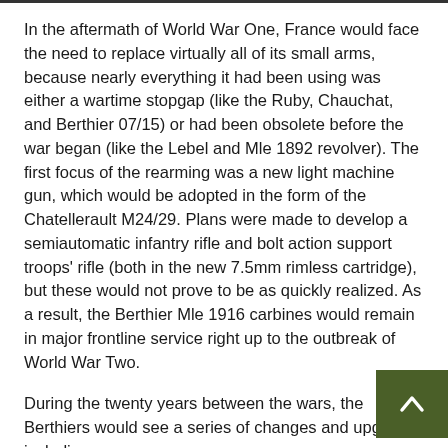In the aftermath of World War One, France would face the need to replace virtually all of its small arms, because nearly everything it had been using was either a wartime stopgap (like the Ruby, Chauchat, and Berthier 07/15) or had been obsolete before the war began (like the Lebel and Mle 1892 revolver). The first focus of the rearming was a new light machine gun, which would be adopted in the form of the Chatellerault M24/29. Plans were made to develop a semiautomatic infantry rifle and bolt action support troops' rifle (both in the new 7.5mm rimless cartridge), but these would not prove to be as quickly realized. As a result, the Berthier Mle 1916 carbines would remain in major frontline service right up to the outbreak of World War Two.
During the twenty years between the wars, the Berthiers would see a series of changes and upgrades including:
Sling bars replacing swivels
Revised handguard profile